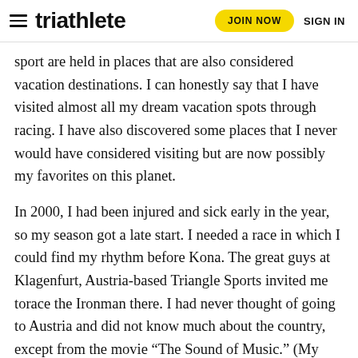triathlete | JOIN NOW | SIGN IN
sport are held in places that are also considered vacation destinations. I can honestly say that I have visited almost all my dream vacation spots through racing. I have also discovered some places that I never would have considered visiting but are now possibly my favorites on this planet.
In 2000, I had been injured and sick early in the year, so my season got a late start. I needed a race in which I could find my rhythm before Kona. The great guys at Klagenfurt, Austria-based Triangle Sports invited me torace the Ironman there. I had never thought of going to Austria and did not know much about the country, except from the movie “The Sound of Music.” (My mother forced us boys to watch that movie when we were young. She claimed it would give us some culture.)
When flying into Austria, all I could see was green. The whole